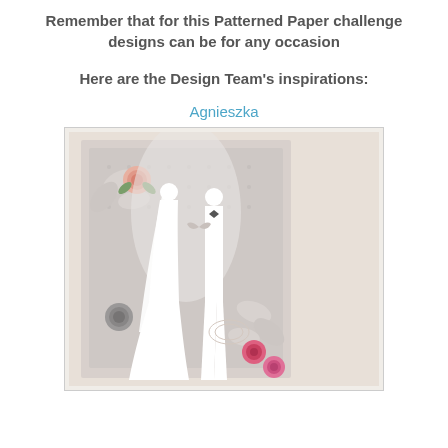Remember that for this Patterned Paper challenge designs can be for any occasion
Here are the Design Team's inspirations:
Agnieszka
[Figure (photo): A handmade wedding card featuring white silhouettes of a bride and groom surrounded by paper flowers (pink roses, white flowers) and decorative leaves on a patterned grey/lavender background.]